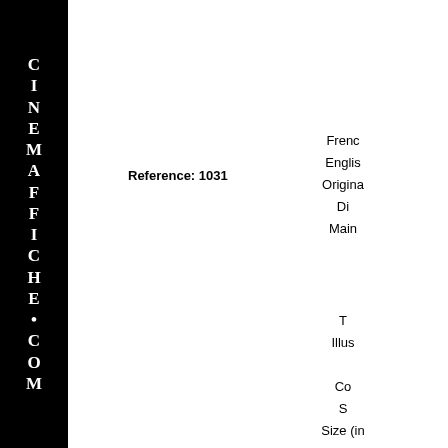[Figure (logo): CINEMAFFICHE.COM vertical black sidebar logo with white letters stacked vertically]
Reference: 1031
French
English
Original
Di
Main
T
Illus
Co
S
Size (in